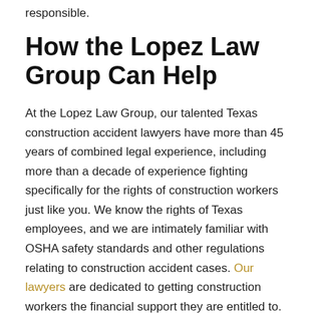responsible.
How the Lopez Law Group Can Help
At the Lopez Law Group, our talented Texas construction accident lawyers have more than 45 years of combined legal experience, including more than a decade of experience fighting specifically for the rights of construction workers just like you. We know the rights of Texas employees, and we are intimately familiar with OSHA safety standards and other regulations relating to construction accident cases. Our lawyers are dedicated to getting construction workers the financial support they are entitled to.
If you've sustained an injury while working on a construction site in La Porte, the Lopez Law Group wants to help you recover the damages you deserve to ease your burden. Proudly serving Houston, Weslaco